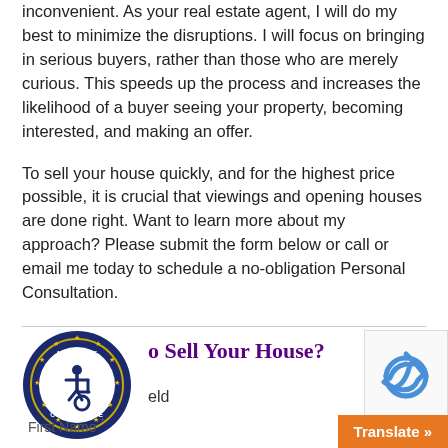inconvenient. As your real estate agent, I will do my best to minimize the disruptions. I will focus on bringing in serious buyers, rather than those who are merely curious. This speeds up the process and increases the likelihood of a buyer seeing your property, becoming interested, and making an offer.
To sell your house quickly, and for the highest price possible, it is crucial that viewings and opening houses are done right. Want to learn more about my approach? Please submit the form below or call or email me today to schedule a no-obligation Personal Consultation.
[Figure (logo): ADA Site Compliance badge — circular dark blue badge with gold stars around the border, white accessibility wheelchair icon in the center, and text reading ADA SITE COMPLIANCE]
o Sell Your House?
eld
First Name *
[Figure (logo): Google reCAPTCHA widget showing a recycling-arrows icon in blue]
Translate »